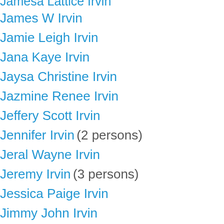Jamesa Lattice Irvin
James W Irvin
Jamie Leigh Irvin
Jana Kaye Irvin
Jaysa Christine Irvin
Jazmine Renee Irvin
Jeffery Scott Irvin
Jennifer Irvin (2 persons)
Jeral Wayne Irvin
Jeremy Irvin (3 persons)
Jessica Paige Irvin
Jimmy John Irvin
Joe Don Irvin
John Irvin (5 persons)
Johnny Lee Irvin III
Jonathan Irvin (2 persons)
Jordan Ashley Irvin
Joseph Alexander Irvin